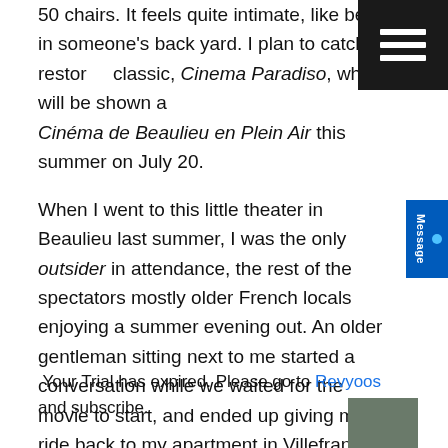50 chairs. It feels quite intimate, like being in someone's back yard. I plan to catch the restored classic, Cinema Paradiso, which will be shown at Cinéma de Beaulieu en Plein Air this summer on July 20.
When I went to this little theater in Beaulieu last summer, I was the only outsider in attendance, the rest of the spectators mostly older French locals enjoying a summer evening out. An older gentleman sitting next to me started a conversation while we waited for the movie to start, and ended up giving me a ride back to my apartment in Villefranche. That was great, and since he didn't speak much English, I could practice my newly learned French phrases.
Your Trial has expired. Please go to Revyoos and subscribe.